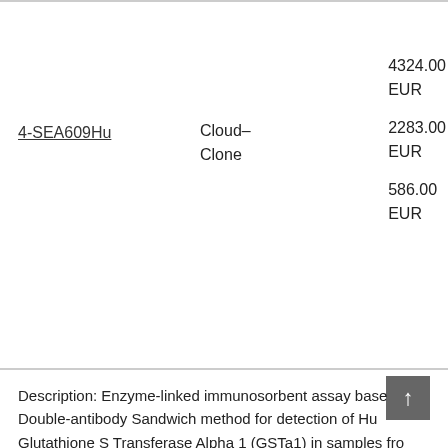4-SEA609Hu
Cloud-Clone
4324.00 EUR
2283.00 EUR
586.00 EUR
Description: Enzyme-linked immunosorbent assay based on the Double-antibody Sandwich method for detection of Human Glutathione S Transferase Alpha 1 (GSTa1) in samples fro...